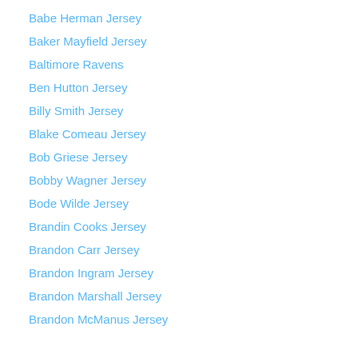Babe Herman Jersey
Baker Mayfield Jersey
Baltimore Ravens
Ben Hutton Jersey
Billy Smith Jersey
Blake Comeau Jersey
Bob Griese Jersey
Bobby Wagner Jersey
Bode Wilde Jersey
Brandin Cooks Jersey
Brandon Carr Jersey
Brandon Ingram Jersey
Brandon Marshall Jersey
Brandon McManus Jersey